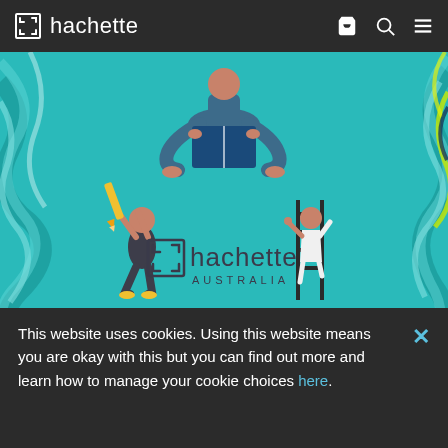hachette
[Figure (illustration): Hachette Australia promotional illustration: teal/turquoise background with stylised figures — a person sitting cross-legged holding a large book at top, a person with a pencil at bottom-left, a person on a ladder at centre-right, and decorative swirling blue/green brush-stroke borders on left and right sides. Hachette Australia logo centred in lower portion of image.]
This booklet will show you what publishing is, what publishers do and how you can have a rewarding career in publishing – whatever your skills or background.
This website uses cookies. Using this website means you are okay with this but you can find out more and learn how to manage your cookie choices here.